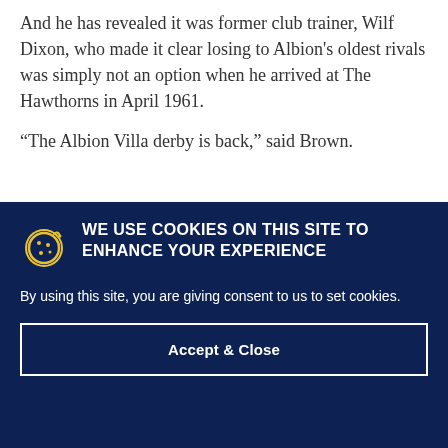And he has revealed it was former club trainer, Wilf Dixon, who made it clear losing to Albion's oldest rivals was simply not an option when he arrived at The Hawthorns in April 1961.
“The Albion Villa derby is back,” said Brown.
WE USE COOKIES ON THIS SITE TO ENHANCE YOUR EXPERIENCE
By using this site, you are giving consent to us to set cookies.
Accept & Close